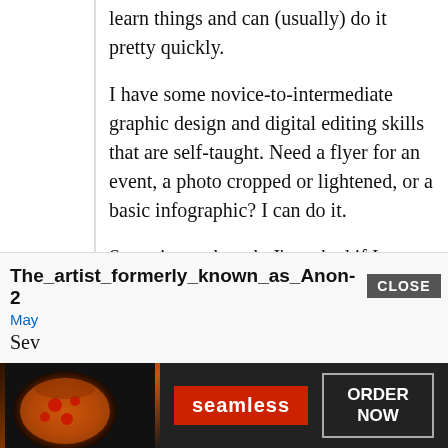learn things and can (usually) do it pretty quickly.
I have some novice-to-intermediate graphic design and digital editing skills that are self-taught. Need a flyer for an event, a photo cropped or lightened, or a basic infographic? I can do it.
Sometimes, though, I'm asked if I can photoshop things in a photo or quickly(!) edit a couple of hours of video. I can't. I mean, I can learn it, eventually. There are tons of tutorials and guides online on how to do anything (I'm teaching myself PremierePro, tbh), but it's not something that is easy to learn or that I just know how to do.
The_artist_formerly_known_as_Anon-2
May
Sev
[Figure (screenshot): Seamless food delivery advertisement banner with pizza image, Seamless red logo, and ORDER NOW button]